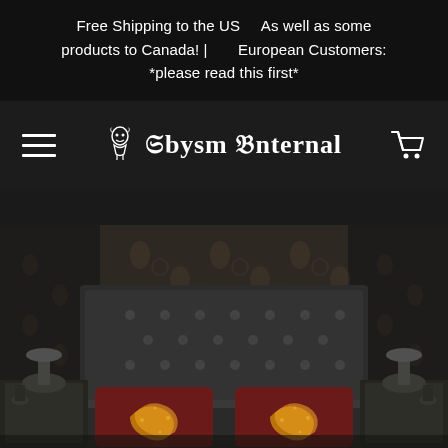Free Shipping to the US    As well as some products to Canada! |        European Customers: *please read this first*
Abysm Internal
[Figure (photo): Gothic bedroom interior with dark tufted headboard, decorative patterned wallpaper, two nightstands with lamps, and colorful red/gold dragon-motif pillows on the bed]